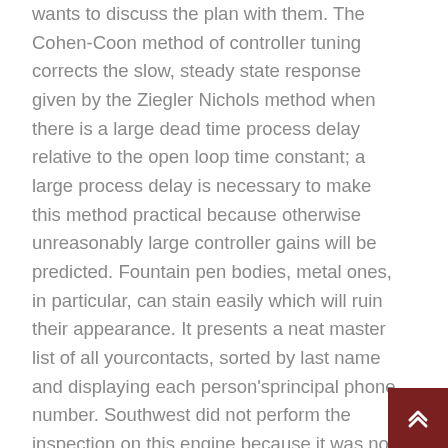wants to discuss the plan with them. The Cohen-Coon method of controller tuning corrects the slow, steady state response given by the Ziegler Nichols method when there is a large dead time process delay relative to the open loop time constant; a large process delay is necessary to make this method practical because otherwise unreasonably large controller gains will be predicted. Fountain pen bodies, metal ones, in particular, can stain easily which will ruin their appearance. It presents a neat master list of all yourcontacts, sorted by last name and displaying each person'sprincipal phone number. Southwest did not perform the inspection on this engine because it was not within the parameters specified by the directive. To unlock the doors the switch reverses the polarity of the voltage applied to the solenoid. Pro Smooth modes, BrainDrain, Skitzo, Landing, Delete Flash, LED On, LED Change Program, LED Change Color, BlackBox. Therefore, it is essential to pay attention to the sign